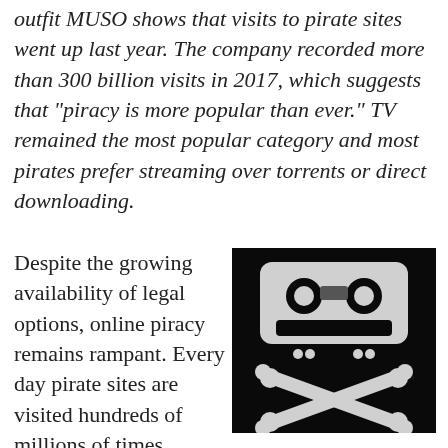outfit MUSO shows that visits to pirate sites went up last year. The company recorded more than 300 billion visits in 2017, which suggests that "piracy is more popular than ever." TV remained the most popular category and most pirates prefer streaming over torrents or direct downloading.
Despite the growing availability of legal options, online piracy remains rampant. Every day pirate sites are visited hundreds of millions of times.
[Figure (illustration): Black background image showing a cassette tape icon styled as a skull (top) with two crossed bones below, mimicking a pirate skull-and-crossbones symbol.]